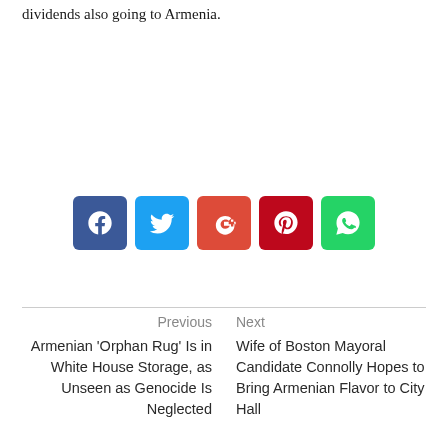dividends also going to Armenia.
[Figure (other): Social media sharing buttons: Facebook (blue), Twitter (light blue), Google+ (orange-red), Pinterest (dark red), WhatsApp (green)]
Previous
Armenian ‘Orphan Rug’ Is in White House Storage, as Unseen as Genocide Is Neglected
Next
Wife of Boston Mayoral Candidate Connolly Hopes to Bring Armenian Flavor to City Hall